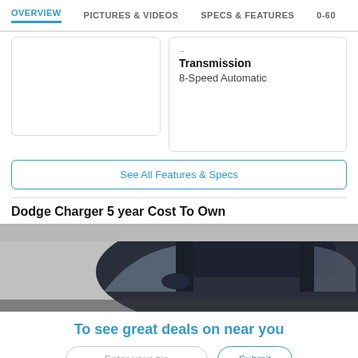OVERVIEW | PICTURES & VIDEOS | SPECS & FEATURES | 0-60
Transmission
8-Speed Automatic
See All Features & Specs
Dodge Charger 5 year Cost To Own
[Figure (photo): Top portion of a dark blue Dodge Charger sedan photographed from a slightly elevated angle showing the roof and upper body]
To see great deals on near you
Enter your zip | Submit